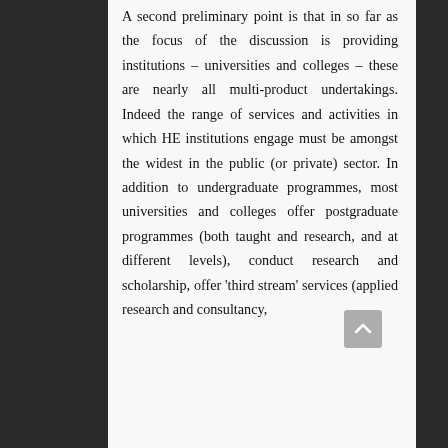A second preliminary point is that in so far as the focus of the discussion is providing institutions – universities and colleges – these are nearly all multi-product undertakings. Indeed the range of services and activities in which HE institutions engage must be amongst the widest in the public (or private) sector. In addition to undergraduate programmes, most universities and colleges offer postgraduate programmes (both taught and research, and at different levels), conduct research and scholarship, offer 'third stream' services (applied research and consultancy,